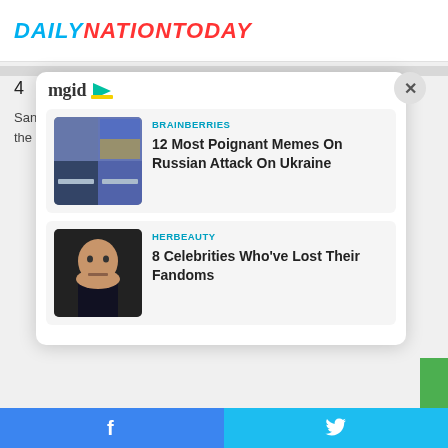DAILYNATIONTODAY
4
Sanford is accused of fatally shooting his girlfriend's parents during the early days of the Covid-19 pandemicCredit: Channel 3000
[Figure (screenshot): MGID content recommendation widget showing two article cards: 1) BRAINBERRIES - '12 Most Poignant Memes On Russian Attack On Ukraine' with a collage of meme images; 2) HERBEAUTY - '8 Celebrities Who've Lost Their Fandoms' with a photo of a man (Johnny Depp).]
Facebook share | Twitter share